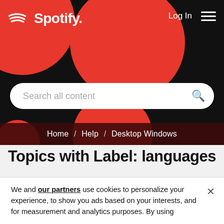[Figure (screenshot): Spotify website hero banner with black background, red circles, Spotify logo top-left, Log In and hamburger menu top-right, and a search bar reading 'Search all content']
Home / Help / Desktop Windows
Topics with Label: languages
"RECENTLY PLAYED" (1)
We and our partners use cookies to personalize your experience, to show you ads based on your interests, and for measurement and analytics purposes. By using